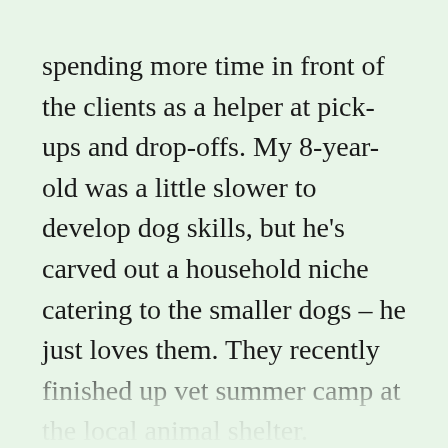spending more time in front of the clients as a helper at pick-ups and drop-offs. My 8-year-old was a little slower to develop dog skills, but he's carved out a household niche catering to the smaller dogs – he just loves them. They recently finished up vet summer camp at the local animal shelter.

Their help means I can pay them a legitimately earned income (a percentage of the overall dog-sitting income). Because the income is earned they can save money in their kid Roth IRAs and it will be